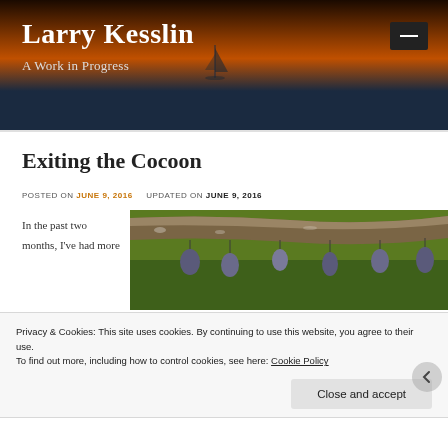Larry Kesslin
A Work in Progress
Exiting the Cocoon
POSTED ON JUNE 9, 2016   UPDATED ON JUNE 9, 2016
[Figure (photo): Close-up photo of a caterpillar or chrysalis case on a branch with cocoon pods hanging below, against a green background]
In the past two months, I've had more
Privacy & Cookies: This site uses cookies. By continuing to use this website, you agree to their use.
To find out more, including how to control cookies, see here: Cookie Policy
Close and accept